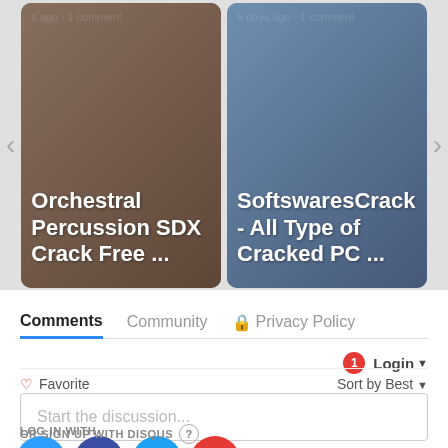[Figure (screenshot): Carousel showing two content cards: 'Orchestral Percussion SDX Crack Free ...' (left) and 'SoftswaresCrack - All Type of Cracked PC ...' (right), with navigation arrows on each side.]
Comments   Community   🔒 Privacy Policy
🔔1  Login ▾
♡ Favorite   Sort by Best ▾
Start the discussion...
LOG IN WITH
[Figure (infographic): Four social login icons: Disqus (blue speech bubble with D), Facebook (dark purple circle with f), Twitter (cyan circle with bird), Google (red circle with G)]
OR SIGN UP WITH DISQUS ?